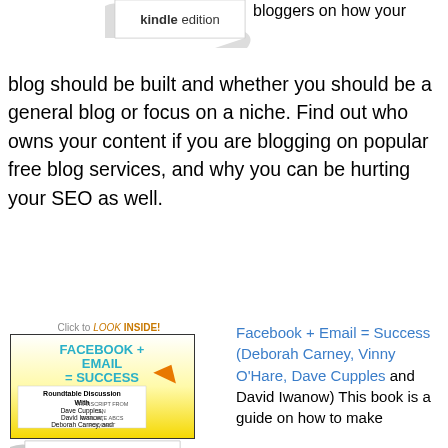[Figure (illustration): Kindle edition badge/ribbon at top left area]
bloggers on how your blog should be built and whether you should be a general blog or focus on a niche. Find out who owns your content if you are blogging on popular free blog services, and why you can be hurting your SEO as well.
[Figure (illustration): Book cover for 'Facebook + Email = Success' with Click to LOOK INSIDE! banner, kindle edition badge below]
Facebook + Email = Success (Deborah Carney, Vinny O'Hare, Dave Cupples and David Iwanow) This book is a guide on how to make